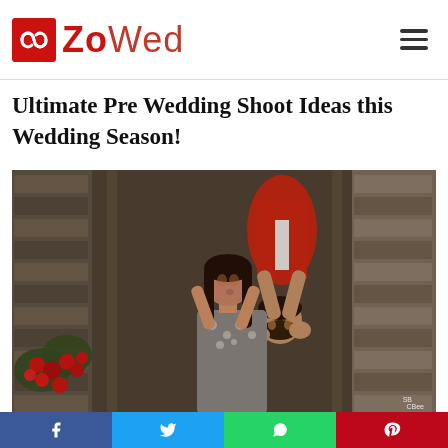ZoWed
Ultimate Pre Wedding Shoot Ideas this Wedding Season!
[Figure (photo): A couple sharing a romantic moment — woman standing upright while man hangs upside down from above, their faces close together, with red flowers and stone wall in background. Pre-wedding shoot style photo.]
Social sharing bar: Facebook, Twitter, WhatsApp, Pinterest